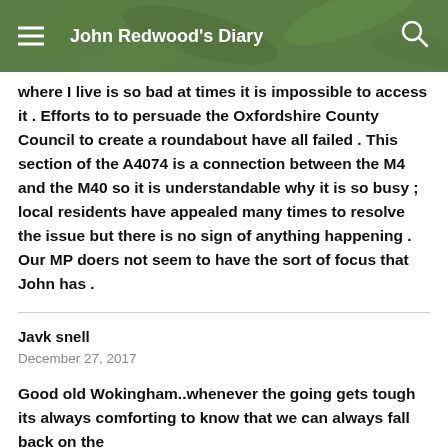John Redwood's Diary
where I live is so bad at times it is impossible to access it . Efforts to to persuade the Oxfordshire County Council to create a roundabout have all failed . This section of the A4074 is a connection between the M4 and the M40 so it is understandable why it is so busy ; local residents have appealed many times to resolve the issue but there is no sign of anything happening . Our MP doers not seem to have the sort of focus that John has .
Javk snell
December 27, 2017
Good old Wokingham..whenever the going gets tough its always comforting to know that we can always fall back on the